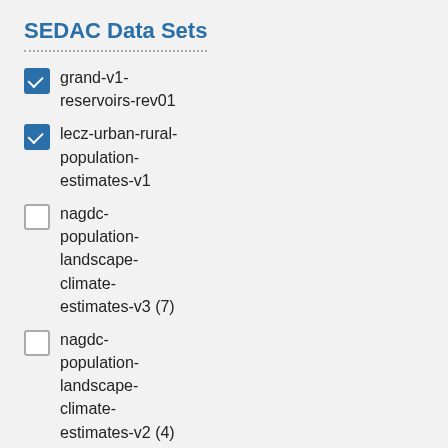SEDAC Data Sets
grand-v1-reservoirs-rev01
lecz-urban-rural-population-estimates-v1
nagdc-population-landscape-climate-estimates-v3 (7)
nagdc-population-landscape-climate-estimates-v2 (4)
grand-v1-dams-rev01 (2)
Show more